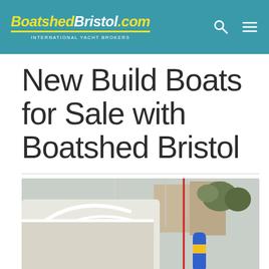BoatshedBristol.com — INTERNATIONAL YACHT BROKERS
New Build Boats for Sale with Boatshed Bristol
[Figure (photo): Close-up photograph of a yacht marina, showing the cockpit area of a sailing yacht with white railings, striped cushions, a control panel, masts, and marina buildings in the background.]